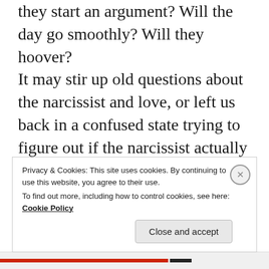they start an argument? Will the day go smoothly? Will they hoover? It may stir up old questions about the narcissist and love, or left us back in a confused state trying to figure out if the narcissist actually ever loved us or not. It may be especially difficult to receive support during this time period from others, as Valentine's Day is perceived as a light-hearted holiday, even frivolous by some. It's common
Privacy & Cookies: This site uses cookies. By continuing to use this website, you agree to their use. To find out more, including how to control cookies, see here: Cookie Policy